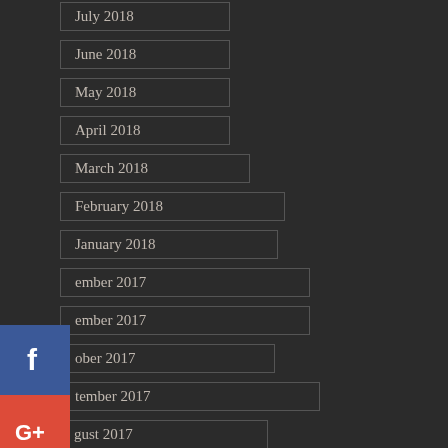July 2018
June 2018
May 2018
April 2018
March 2018
February 2018
January 2018
November 2017
November 2017
October 2017
September 2017
August 2017
2017
June 2017
y 2017
[Figure (infographic): Social media share buttons: Facebook (blue), Google+ (red), Twitter (light blue), Pinterest (red), Blogger (orange), More (grey with ellipsis)]